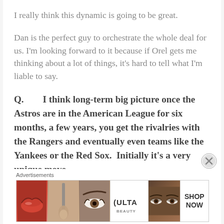I really think this dynamic is going to be great.
Dan is the perfect guy to orchestrate the whole deal for us.  I'm looking forward to it because if Orel gets me thinking about a lot of things, it's hard to tell what I'm liable to say.
Q.        I think long-term big picture once the Astros are in the American League for six months, a few years, you get the rivalries with the Rangers and eventually even teams like the Yankees or the Red Sox.  Initially it's a very unique move.
Advertisements
[Figure (photo): Advertisement banner for ULTA beauty products showing close-up images of lips, makeup brush, eye, ULTA logo, smoky eye, and SHOP NOW text]